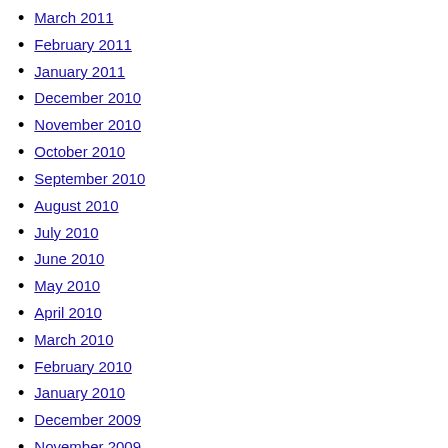April 2011
March 2011
February 2011
January 2011
December 2010
November 2010
October 2010
September 2010
August 2010
July 2010
June 2010
May 2010
April 2010
March 2010
February 2010
January 2010
December 2009
November 2009
October 2009
September 2009
August 2009
July 2009
June 2009
May 2009
April 2009